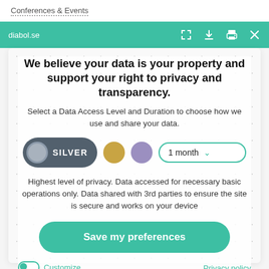Conferences & Events
diabol.se
We believe your data is your property and support your right to privacy and transparency.
Select a Data Access Level and Duration to choose how we use and share your data.
[Figure (infographic): Privacy level selector row with Silver button (dark grey pill with grey circle), gold circle, purple circle, and '1 month' dropdown with teal border]
Highest level of privacy. Data accessed for necessary basic operations only. Data shared with 3rd parties to ensure the site is secure and works on your device
Save my preferences
Customize
Privacy policy